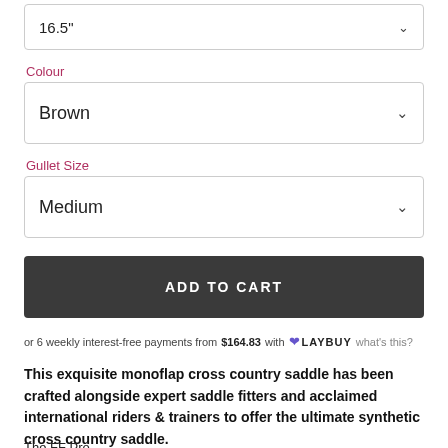16.5"
Colour
Brown
Gullet Size
Medium
ADD TO CART
or 6 weekly interest-free payments from $164.83 with LAY BUY what's this?
This exquisite monoflap cross country saddle has been crafted alongside expert saddle fitters and acclaimed international riders & trainers to offer the ultimate synthetic cross country saddle.
The FF Pro...